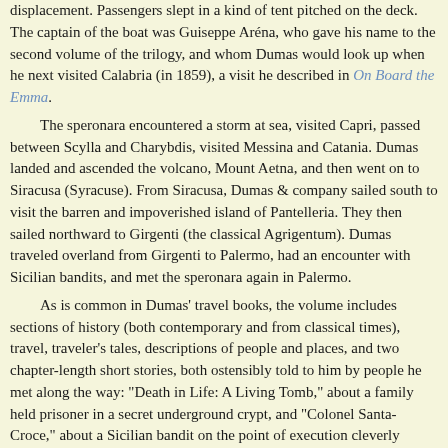displacement. Passengers slept in a kind of tent pitched on the deck. The captain of the boat was Guiseppe Aréna, who gave his name to the second volume of the trilogy, and whom Dumas would look up when he next visited Calabria (in 1859), a visit he described in On Board the Emma.
The speronara encountered a storm at sea, visited Capri, passed between Scylla and Charybdis, visited Messina and Catania. Dumas landed and ascended the volcano, Mount Aetna, and then went on to Siracusa (Syracuse). From Siracusa, Dumas & company sailed south to visit the barren and impoverished island of Pantelleria. They then sailed northward to Girgenti (the classical Agrigentum). Dumas traveled overland from Girgenti to Palermo, had an encounter with Sicilian bandits, and met the speronara again in Palermo.
As is common in Dumas' travel books, the volume includes sections of history (both contemporary and from classical times), travel, traveler's tales, descriptions of people and places, and two chapter-length short stories, both ostensibly told to him by people he met along the way: "Death in Life: A Living Tomb," about a family held prisoner in a secret underground crypt, and "Colonel Santa-Croce," about a Sicilian bandit on the point of execution cleverly rescued by the leader of his band.
Contactez-nous/Contact Us
[Traduire en français] [Translate into English]